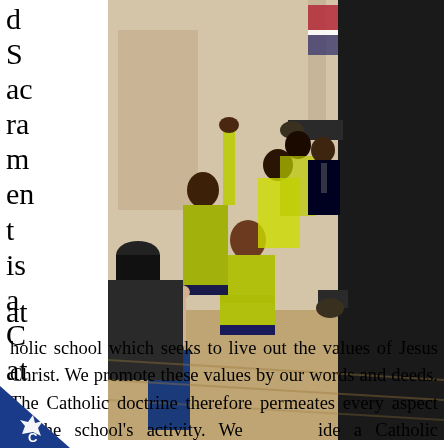d S ac ra m en t is a C at
[Figure (photo): Children in yellow hi-vis vests and school uniforms enthusiastically raising hands and reaching up toward a person dressed in black in what appears to be a church or school hall. A red poinsettia plant is visible in the background on a wooden stand.]
holic school which seeks to live out the values of Jesus Christ. We promote these values by our words and deeds. The Catholic doctrine therefore permeates every aspect of the school's activity. We provide a Catholic curriculum, which is broad and
[Figure (logo): Blue triangle badge with a white star/snowflake shape and the letter C]